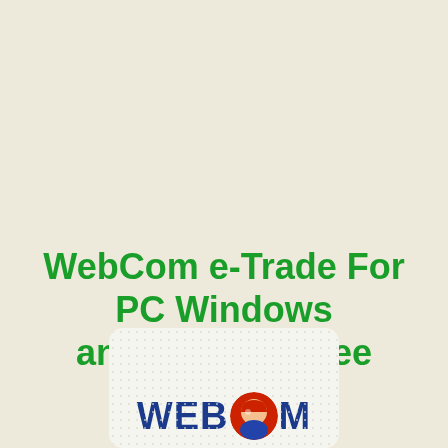WebCom e-Trade For PC Windows and macOS -Free Download
[Figure (logo): WebCom logo on a light card with polka-dot background pattern. Shows 'WEBCOM' text in bold dark blue with a round mascot/character image replacing the letter O.]